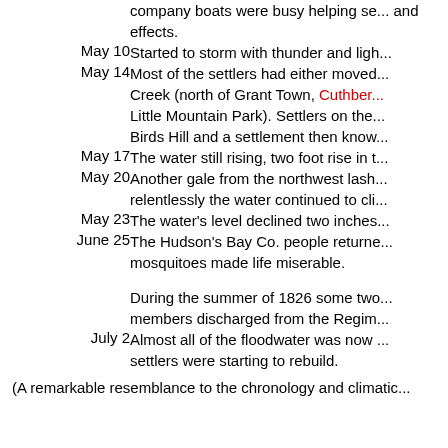| Date | Entry |
| --- | --- |
| May 7 (partial) | ...till Raising. The ice went out on the ... company boats were busy helping se... and effects. |
| May 10 | Started to storm with thunder and ligh... |
| May 14 | Most of the settlers had either moved... Creek (north of Grant Town, Cuthbert... Little Mountain Park). Settlers on the... Birds Hill and a settlement then know... |
| May 17 | The water still rising, two foot rise in t... |
| May 20 | Another gale from the northwest lash... relentlessly the water continued to cli... |
| May 23 | The water's level declined two inches... |
| June 25 | The Hudson's Bay Co. people returne... mosquitoes made life miserable. |
|  | During the summer of 1826 some two... members discharged from the Regim... |
| July 2 | Almost all of the floodwater was now ... settlers were starting to rebuild. |
(A remarkable resemblance to the chronology and climatic...